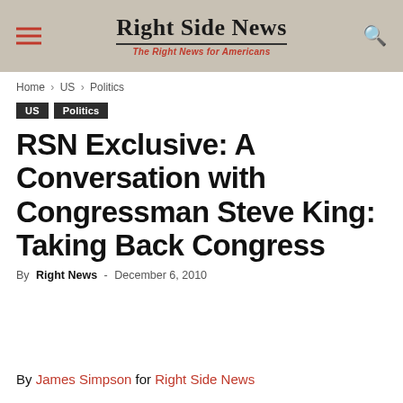Right Side News – The Right News for Americans
Home › US › Politics
US
Politics
RSN Exclusive: A Conversation with Congressman Steve King: Taking Back Congress
By Right News - December 6, 2010
By James Simpson for Right Side News